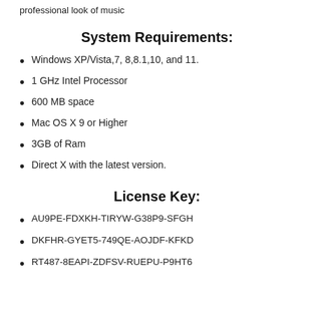professional look of music
System Requirements:
Windows XP/Vista,7, 8,8.1,10, and 11.
1 GHz Intel Processor
600 MB space
Mac OS X 9 or Higher
3GB of Ram
Direct X with the latest version.
License Key:
AU9PE-FDXKH-TIRYW-G38P9-SFGH
DKFHR-GYET5-749QE-AOJDF-KFKD
RT487-8EAPI-ZDFSV-RUEPU-P9HT6